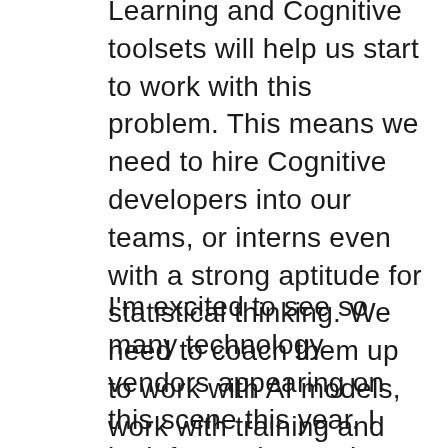Learning and Cognitive toolsets will help us start to work with this problem. This means we need to hire Cognitive developers into our teams, or interns even with a strong aptitude for statistical thinking. We need to coach them up to work with AI models, work with training and validation data, and score models to train bots that can take on the tasks of continuous testing.
I'm excited to see so many technology vendors appearing on this scene this year. I look forward to seeing some interesting use cases coming out in future talks.